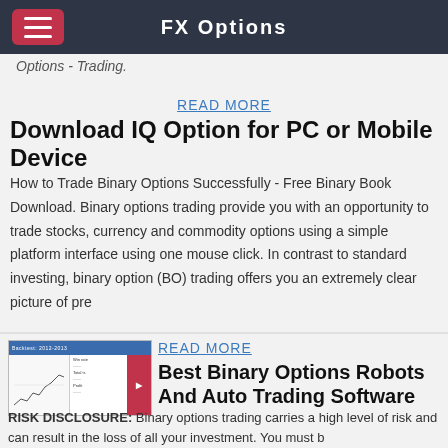FX Options
Options - Trading.
READ MORE
Download IQ Option for PC or Mobile Device
How to Trade Binary Options Successfully - Free Binary Book Download. Binary options trading provide you with an opportunity to trade stocks, currency and commodity options using a simple platform interface using one mouse click. In contrast to standard investing, binary option (BO) trading offers you an extremely clear picture of pre
[Figure (screenshot): Thumbnail screenshot of a trading software backtest report showing chart and table data]
READ MORE
Best Binary Options Robots And Auto Trading Software
RISK DISCLOSURE: Binary options trading carries a high level of risk and can result in the loss of all your investment. You must b